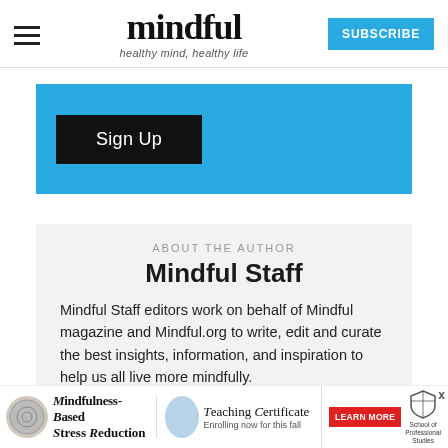mindful — healthy mind, healthy life — SUBSCRIBE
[Figure (screenshot): Blue sign up banner with black Sign Up button]
ABOUT THE AUTHOR
Mindful Staff
Mindful Staff editors work on behalf of Mindful magazine and Mindful.org to write, edit and curate the best insights, information, and inspiration to help us all live more mindfully.
[Figure (infographic): Advertisement banner for Mindfulness-Based Stress Reduction Teaching Certificate program. Shows logos, Learn More button, and School of Professional Studies branding.]